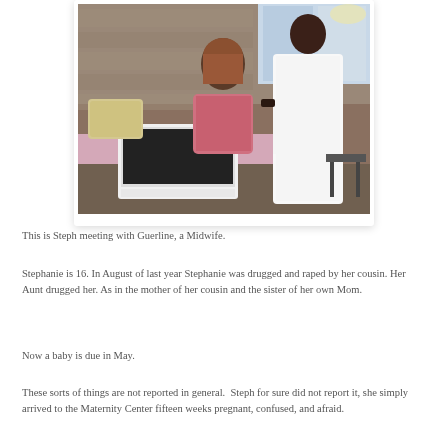[Figure (photo): A young woman sitting on a bed with a laptop computer open in front of her, with a healthcare worker in a white coat standing beside her gesturing with her hands. A stone wall and window are visible in the background.]
This is Steph meeting with Guerline, a Midwife.
Stephanie is 16. In August of last year Stephanie was drugged and raped by her cousin. Her Aunt drugged her. As in the mother of her cousin and the sister of her own Mom.
Now a baby is due in May.
These sorts of things are not reported in general.  Steph for sure did not report it, she simply arrived to the Maternity Center fifteen weeks pregnant, confused, and afraid.